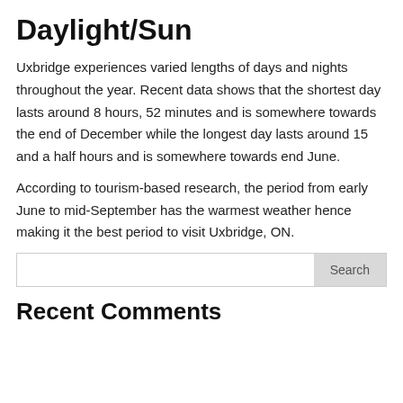Daylight/Sun
Uxbridge experiences varied lengths of days and nights throughout the year. Recent data shows that the shortest day lasts around 8 hours, 52 minutes and is somewhere towards the end of December while the longest day lasts around 15 and a half hours and is somewhere towards end June.
According to tourism-based research, the period from early June to mid-September has the warmest weather hence making it the best period to visit Uxbridge, ON.
Recent Comments